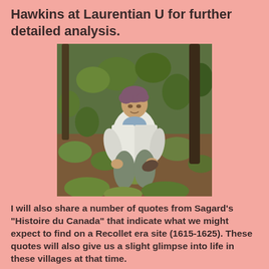Hawkins at Laurentian U for further detailed analysis.
[Figure (photo): A woman crouching in a forest/woodland setting, holding what appears to be an artifact or rock, surrounded by green plants and leaves.]
I will also share a number of quotes from Sagard's "Histoire du Canada" that indicate what we might expect to find on a Recollet era site (1615-1625). These quotes will also give us a slight glimpse into life in these villages at that time.